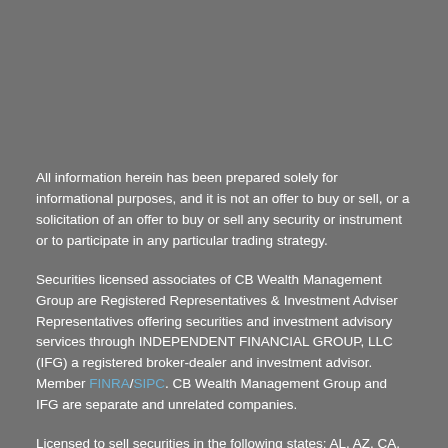All information herein has been prepared solely for informational purposes, and it is not an offer to buy or sell, or a solicitation of an offer to buy or sell any security or instrument or to participate in any particular trading strategy.
Securities licensed associates of CB Wealth Management Group are Registered Representatives & Investment Adviser Representatives offering securities and investment advisory services through INDEPENDENT FINANCIAL GROUP, LLC (IFG) a registered broker-dealer and investment advisor. Member FINRA/SIPC. CB Wealth Management Group and IFG are separate and unrelated companies.
Licensed to sell securities in the following states: AL, AZ, CA, ID,